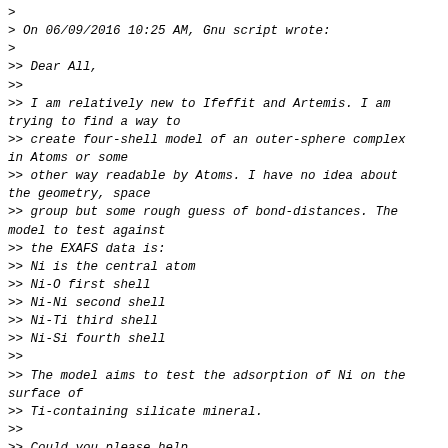> 
> On 06/09/2016 10:25 AM, Gnu script wrote:
>
>> Dear All,
>>
>> I am relatively new to Ifeffit and Artemis. I am trying to find a way to
>> create four-shell model of an outer-sphere complex in Atoms or some
>> other way readable by Atoms. I have no idea about the geometry, space
>> group but some rough guess of bond-distances. The model to test against
>> the EXAFS data is:
>> Ni is the central atom
>> Ni-O first shell
>> Ni-Ni second shell
>> Ni-Ti third shell
>> Ni-Si fourth shell
>>
>> The model aims to test the adsorption of Ni on the surface of
>> Ti-containing silicate mineral.
>>
>> Could you please help.
>>
>> Thanks.
>>
>>
>>